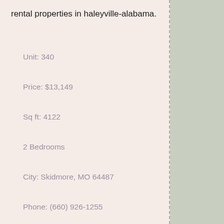rental properties in haleyville-alabama.
Unit: 340
Price: $13,149
Sq ft: 4122
2 Bedrooms
City: Skidmore, MO 64487
Phone: (660) 926-1255
[Figure (photo): Exterior photo of a modern building, thumbnail size, inside a light purple card]
[Figure (photo): Exterior photo of a modern building with blue tones, thumbnail size, inside a light purple card]
[Figure (photo): Partial view of a building exterior, thumbnail size, inside a light purple card, partially visible]